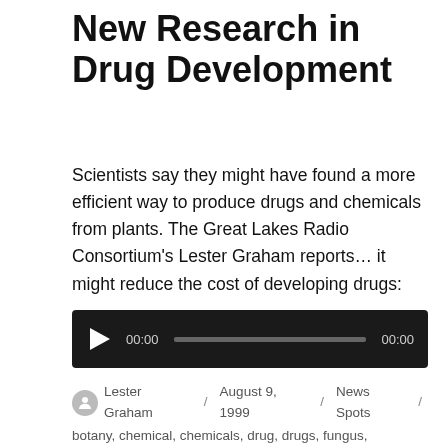New Research in Drug Development
Scientists say they might have found a more efficient way to produce drugs and chemicals from plants. The Great Lakes Radio Consortium's Lester Graham reports... it might reduce the cost of developing drugs:
[Figure (other): Audio player widget with play button, progress bar showing 00:00 / 00:00]
Lester Graham / August 9, 1999 / News Spots / botany, chemical, chemicals, drug, drugs, fungus, hydroponics, pharmaceutical, pharmaceuticals, plant, plants, research, root, roots, rutgers, study